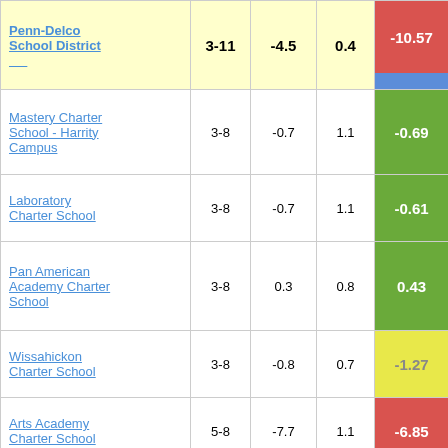| School/District | Grades |  |  | Score |
| --- | --- | --- | --- | --- |
| Penn-Delco School District | 3-11 | -4.5 | 0.4 | -10.57 |
| Mastery Charter School - Harrity Campus | 3-8 | -0.7 | 1.1 | -0.69 |
| Laboratory Charter School | 3-8 | -0.7 | 1.1 | -0.61 |
| Pan American Academy Charter School | 3-8 | 0.3 | 0.8 | 0.43 |
| Wissahickon Charter School | 3-8 | -0.8 | 0.7 | -1.27 |
| Arts Academy Charter School | 5-8 | -7.7 | 1.1 | -6.85 |
| Propel Charter School-Northside | 3-8 | -1.6 | 0.9 | -1.74 |